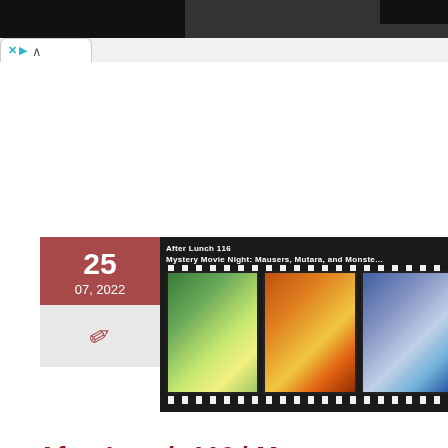Browser chrome / navigation bar
[Figure (illustration): Event thumbnail image showing a film strip with three movie posters: Dr. No (007), Star Trek II, and Monsters Inc., with white text overlay reading 'After Lunch 116 Mystery Movie Night: Mausers, Mutara, and Monsters']
25
07, 2022
After Lunch 116 | Mystery Movie Night: Mausers, Mutara, and